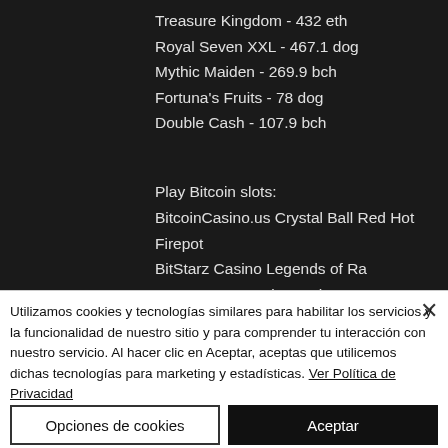Treasure Kingdom - 432 eth
Royal Seven XXL - 467.1 dog
Mythic Maiden - 269.9 bch
Fortuna's Fruits - 78 dog
Double Cash - 107.9 bch
Play Bitcoin slots:
BitcoinCasino.us Crystal Ball Red Hot Firepot
BitStarz Casino Legends of Ra
Vegas Crest Casino Archer
Utilizamos cookies y tecnologías similares para habilitar los servicios y la funcionalidad de nuestro sitio y para comprender tu interacción con nuestro servicio. Al hacer clic en Aceptar, aceptas que utilicemos dichas tecnologías para marketing y estadísticas. Ver Política de Privacidad
Opciones de cookies
Aceptar